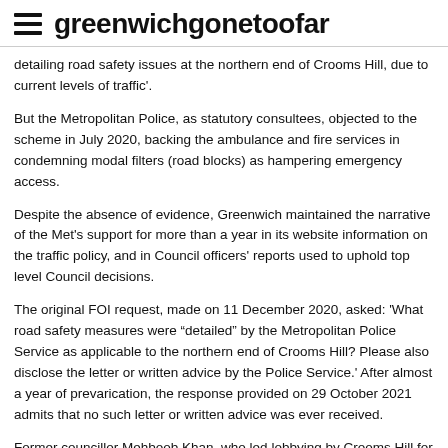greenwichgonetoofar
detailing road safety issues at the northern end of Crooms Hill, due to current levels of traffic'.
But the Metropolitan Police, as statutory consultees, objected to the scheme in July 2020, backing the ambulance and fire services in condemning modal filters (road blocks) as hampering emergency access.
Despite the absence of evidence, Greenwich maintained the narrative of the Met's support for more than a year in its website information on the traffic policy, and in Council officers' reports used to uphold top level Council decisions.
The original FOI request, made on 11 December 2020, asked: 'What road safety measures were "detailed" by the Metropolitan Police Service as applicable to the northern end of Crooms Hill? Please also disclose the letter or written advice by the Police Service.' After almost a year of prevarication, the response provided on 29 October 2021 admits that no such letter or written advice was ever received.
Former councillor Mehboob Khan, who led lobbying by Crooms Hill for 'liveable neighbourhoods' money, also maintained the fiction of Met support, telling the September 2020 council meeting: 'The Metropolitan Police have demanded action by the council and if the council had failed to act upon the Metropolitan Police's advice we would have been neglecting